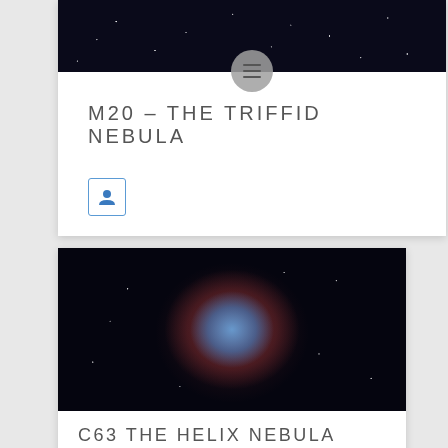[Figure (photo): Dark starfield image at top of first card showing the Triffid Nebula region]
M20 – THE TRIFFID NEBULA
[Figure (photo): Astronomical image of the Helix Nebula (C63) showing a circular blue and red planetary nebula against a dark starfield]
C63 THE HELIX NEBULA